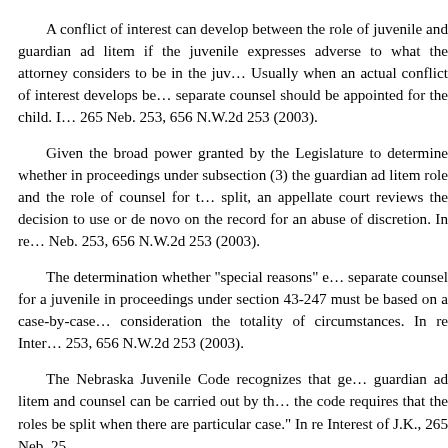A conflict of interest can develop between the role of juvenile and guardian ad litem if the juvenile expresses adverse to what the attorney considers to be in the juvenile's best interests. Usually when an actual conflict of interest develops between separate counsel should be appointed for the child. In re Interest of J.K., 265 Neb. 253, 656 N.W.2d 253 (2003).
Given the broad power granted by the Legislature to determine whether in proceedings under subsection (3) the guardian ad litem role and the role of counsel for the child are split, an appellate court reviews the decision to use or split de novo on the record for an abuse of discretion. In re Interest of J.K., 265 Neb. 253, 656 N.W.2d 253 (2003).
The determination whether "special reasons" exist for separate counsel for a juvenile in proceedings under section 43-247 must be based on a case-by-case consideration the totality of circumstances. In re Interest of J.K., 265 Neb. 253, 656 N.W.2d 253 (2003).
The Nebraska Juvenile Code recognizes that generally guardian ad litem and counsel can be carried out by the same person; the code requires that the roles be split when there are "special reasons" in a particular case." In re Interest of J.K., 265 Neb. 253